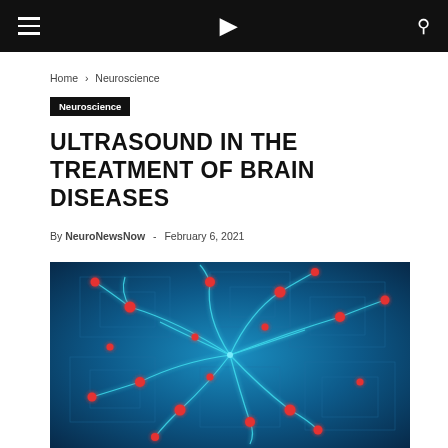NeuroNewsNow
Home › Neuroscience
Neuroscience
ULTRASOUND IN THE TREATMENT OF BRAIN DISEASES
By NeuroNewsNow - February 6, 2021
[Figure (illustration): Digital illustration of a neural network with glowing cyan neurons and red nodes connected by light trails on a blue circuit-board background]